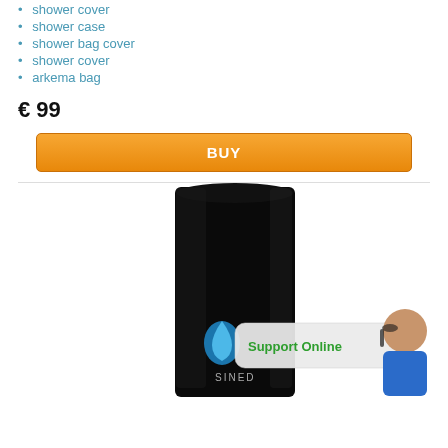shower cover
shower case
shower bag cover
shower cover
arkema bag
€ 99
[Figure (screenshot): Orange BUY button]
[Figure (photo): Black SINED branded shower bag product with Support Online chat widget overlay showing a woman with headset]